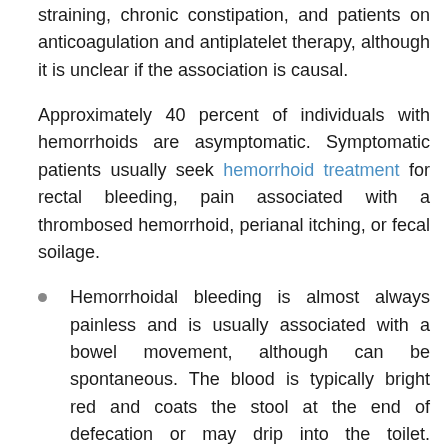straining, chronic constipation, and patients on anticoagulation and antiplatelet therapy, although it is unclear if the association is causal.
Approximately 40 percent of individuals with hemorrhoids are asymptomatic. Symptomatic patients usually seek hemorrhoid treatment for rectal bleeding, pain associated with a thrombosed hemorrhoid, perianal itching, or fecal soilage.
Hemorrhoidal bleeding is almost always painless and is usually associated with a bowel movement, although can be spontaneous. The blood is typically bright red and coats the stool at the end of defecation or may drip into the toilet. Occasionally, bleeding can be copious and can be exacerbated by straining. In rare cases, chronic blood loss can cause iron